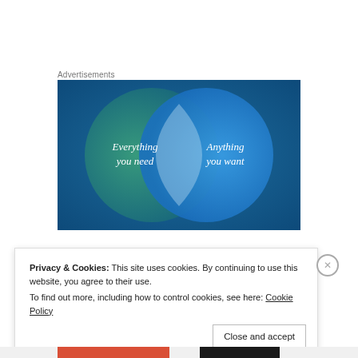Advertisements
[Figure (infographic): Venn diagram advertisement with two overlapping circles on a blue/teal background. Left circle is teal/green with text 'Everything you need'. Right circle is blue with text 'Anything you want'. The overlapping intersection is a lighter blue-white lens shape.]
Privacy & Cookies: This site uses cookies. By continuing to use this website, you agree to their use.
To find out more, including how to control cookies, see here: Cookie Policy
Close and accept